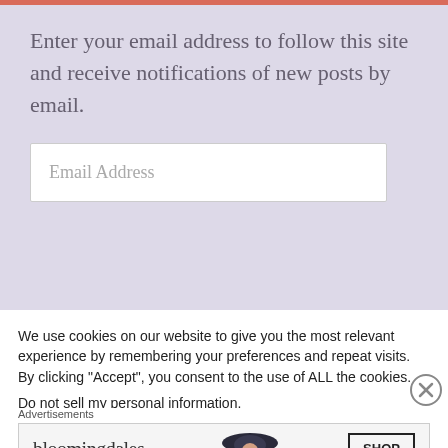Enter your email address to follow this site and receive notifications of new posts by email.
Email Address
We use cookies on our website to give you the most relevant experience by remembering your preferences and repeat visits. By clicking “Accept”, you consent to the use of ALL the cookies.
Do not sell my personal information.
Advertisements
[Figure (screenshot): Bloomingdale's advertisement banner with logo, tagline 'View Today's Top Deals!', a model wearing a wide-brim hat, and a 'SHOP NOW >' button]